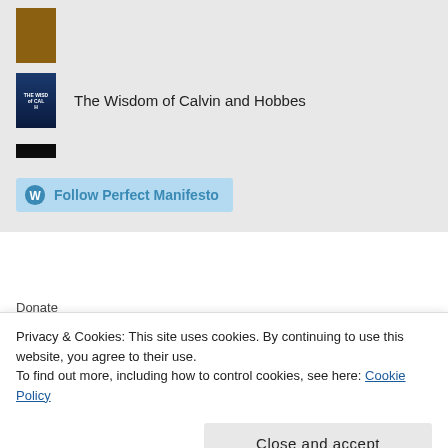The Wisdom of Calvin and Hobbes
The Magic Pill
Follow Perfect Manifesto
Donate
Privacy & Cookies: This site uses cookies. By continuing to use this website, you agree to their use.
To find out more, including how to control cookies, see here: Cookie Policy
Close and accept